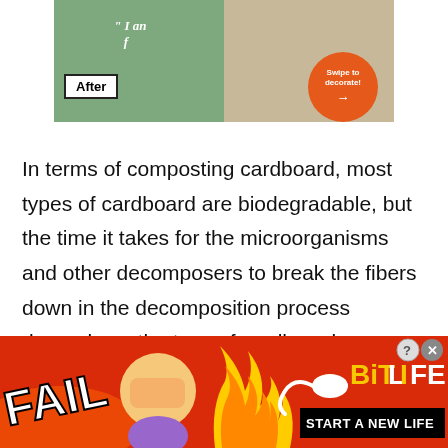[Figure (photo): A cropped screenshot of a room decoration app showing a split 'Before/After' view. Left side shows green wall with partial quote text and an 'After' label badge. Right side shows a room with carpet and a dog, with an orange 'Swipe to decorate!' circular badge.]
In terms of composting cardboard, most types of cardboard are biodegradable, but the time it takes for the microorganisms and other decomposers to break the fibers down in the decomposition process depends on the type of cardboard.
[Figure (photo): Advertisement banner for BitLife game. Red/orange background with fire and flame graphics, a cartoon character facepalming, 'FAIL' text in white, a sperm icon, 'BitLife' logo in yellow, and a black box saying 'START A NEW LIFE'. Close (x) and help (?) buttons in top right.]